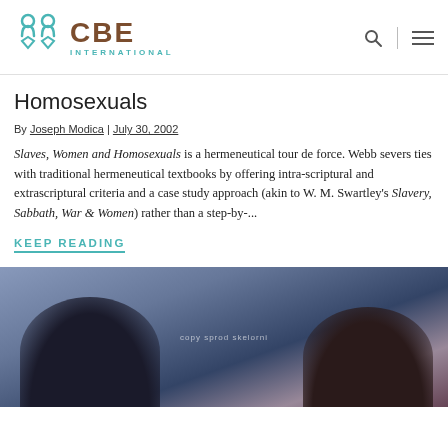CBE International
Homosexuals
By Joseph Modica | July 30, 2002
Slaves, Women and Homosexuals is a hermeneutical tour de force. Webb severs ties with traditional hermeneutical textbooks by offering intra-scriptural and extrascriptural criteria and a case study approach (akin to W. M. Swartley's Slavery, Sabbath, War & Women) rather than a step-by-...
KEEP READING
[Figure (photo): A blurred photo showing two people close together, viewed from above/behind, with dark hair visible against a muted blue-gray background.]